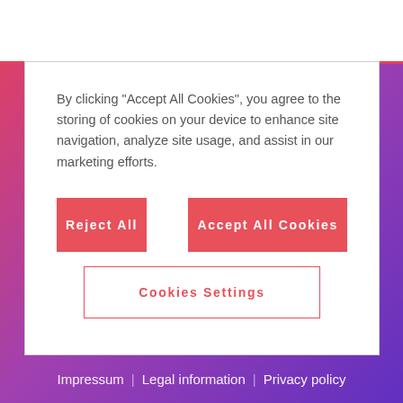By clicking “Accept All Cookies”, you agree to the storing of cookies on your device to enhance site navigation, analyze site usage, and assist in our marketing efforts.
Reject All
Accept All Cookies
Cookies Settings
Impressum | Legal information | Privacy policy